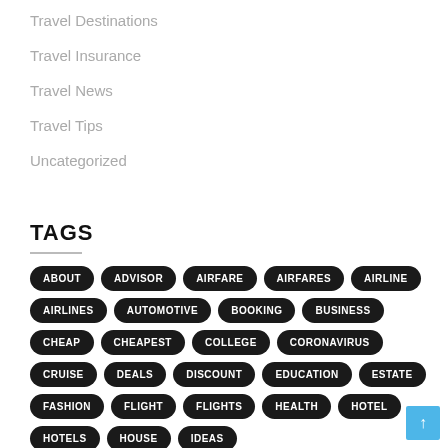Travel Destinations
Travel Insurance
Travel News
Travel Tips
Uncategorized
TAGS
ABOUT ADVISOR AIRFARE AIRFARES AIRLINE AIRLINES AUTOMOTIVE BOOKING BUSINESS CHEAP CHEAPEST COLLEGE CORONAVIRUS CRUISE DEALS DISCOUNT EDUCATION ESTATE FASHION FLIGHT FLIGHTS HEALTH HOTEL HOTELS HOUSE IDEAS